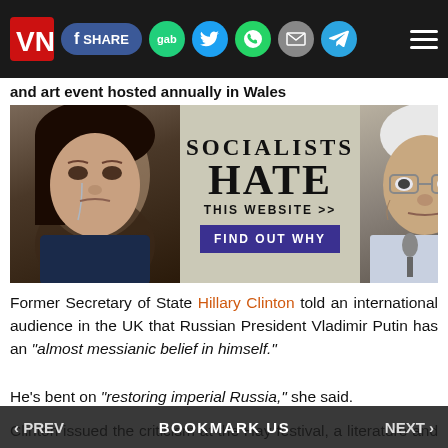SHARE | gab | [twitter] | [whatsapp] | [email] | [telegram] | [menu]
and art event hosted annually in Wales
[Figure (photo): Advertisement banner showing two political figures with text 'SOCIALISTS HATE THIS WEBSITE >> FIND OUT WHY']
Former Secretary of State Hillary Clinton told an international audience in the UK that Russian President Vladimir Putin has an “almost messianic belief in himself.”
He’s bent on “restoring imperial Russia,” she said.
Clinton issued the criticism at the Hay festival, a literature and art event hosted annually in Wales.
‹ PREV    BOOKMARK US    NEXT ›